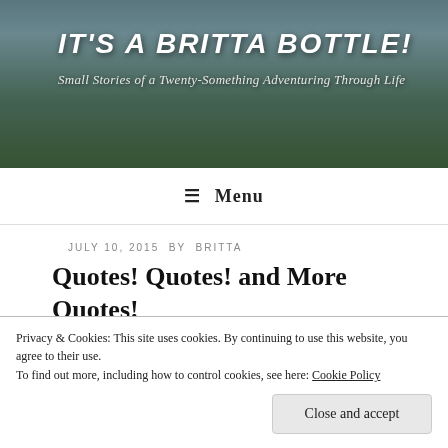[Figure (photo): Blog header banner with outdoor landscape (sky and trees) background]
IT'S A BRITTA BOTTLE!
Small Stories of a Twenty-Something Adventuring Through Life
≡ Menu
JULY 10, 2015 BY BRITTA
Quotes! Quotes! and More Quotes!
Back in the day (as in, the early to mid-2000's), I was a big fan of the book series, A Series of Unfortunate Events by Lemony Snicket (pseudonym for American author, Daniel Handler). I
Privacy & Cookies: This site uses cookies. By continuing to use this website, you agree to their use.
To find out more, including how to control cookies, see here: Cookie Policy